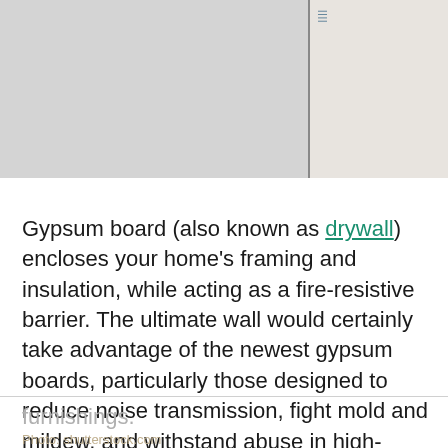[Figure (photo): Photo showing gypsum board / drywall material; left portion shows grey textured surface, right portion shows an edge or spine with blue text markings against a lighter background.]
Gypsum board (also known as drywall) encloses your home's framing and insulation, while acting as a fire-resistive barrier. The ultimate wall would certainly take advantage of the newest gypsum boards, particularly those designed to reduce noise transmission, fight mold and mildew, and withstand abuse in high-traffic areas. Some products even absorb the Volatile Organic Compounds (VOCs)—that is, cancer-causing agents sometimes found in home furnishings.
Photo: shutterstock.com